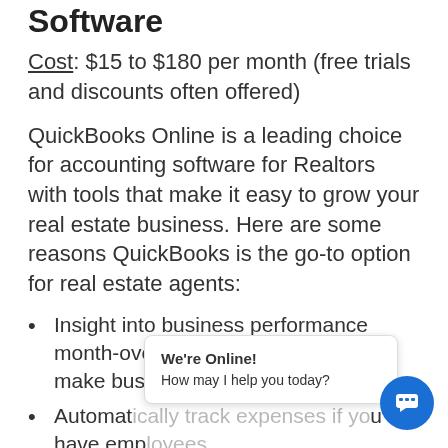Software
Cost: $15 to $180 per month (free trials and discounts often offered)
QuickBooks Online is a leading choice for accounting software for Realtors with tools that make it easy to grow your real estate business. Here are some reasons QuickBooks is the go-to option for real estate agents:
Insight into business performance month-over-month to set goals and make business decisions
Automatically track expenses if you have employees
Easily create categories of liabilities